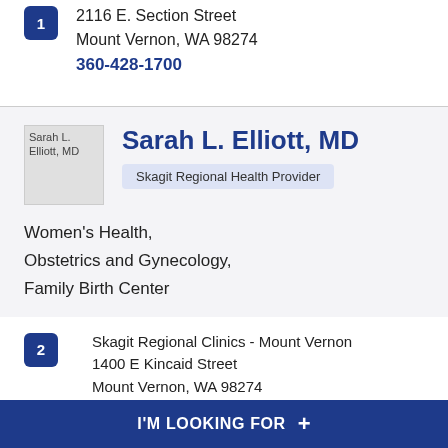2116 E. Section Street
Mount Vernon, WA 98274
360-428-1700
Sarah L. Elliott, MD
Skagit Regional Health Provider
Women's Health,
Obstetrics and Gynecology,
Family Birth Center
Skagit Regional Clinics - Mount Vernon
1400 E Kincaid Street
Mount Vernon, WA 98274
I'M LOOKING FOR +